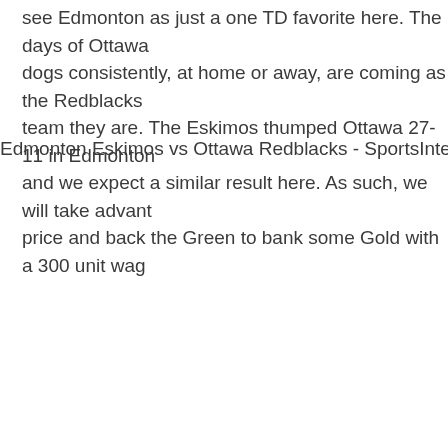see Edmonton as just a one TD favorite here. The days of Ottawa dogs consistently, at home or away, are coming as the Redblacks team they are. The Eskimos thumped Ottawa 27-11 in Edmonton and we expect a similar result here. As such, we will take advant price and back the Green to bank some Gold with a 300 unit wag
Edmonton Eskimos vs Ottawa Redblacks - SportsInte